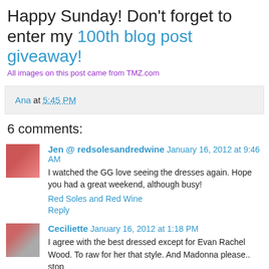Happy Sunday!  Don't forget to enter my 100th blog post giveaway!
All images on this post came from TMZ.com
Ana at 5:45 PM
6 comments:
Jen @ redsolesandredwine  January 16, 2012 at 9:46 AM
I watched the GG love seeing the dresses again. Hope you had a great weekend, although busy!
Red Soles and Red Wine
Reply
Ceciliette  January 16, 2012 at 1:18 PM
I agree with the best dressed except for Evan Rachel Wood. To raw for her that style. And Madonna please.. stop